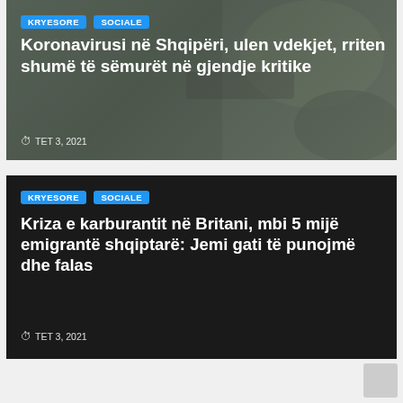[Figure (screenshot): News article card 1 with dark greenish blurred background photo. Tags: KRYESORE, SOCIALE. Title: Koronavirusi në Shqipëri, ulen vdekjet, rriten shumë të sëmurët në gjendje kritike. Date: TET 3, 2021]
[Figure (screenshot): News article card 2 with solid dark/black background. Tags: KRYESORE, SOCIALE. Title: Kriza e karburantit në Britani, mbi 5 mijë emigrantë shqiptarë: Jemi gati të punojmë dhe falas. Date: TET 3, 2021]